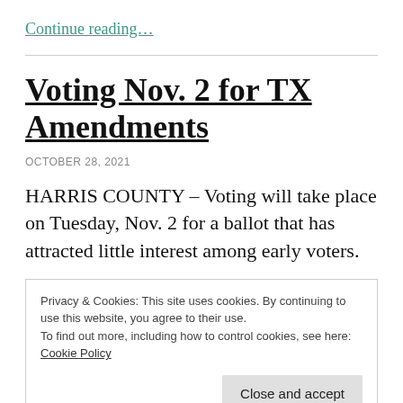Continue reading…
Voting Nov. 2 for TX Amendments
OCTOBER 28, 2021
HARRIS COUNTY – Voting will take place on Tuesday, Nov. 2 for a ballot that has attracted little interest among early voters.
Privacy & Cookies: This site uses cookies. By continuing to use this website, you agree to their use. To find out more, including how to control cookies, see here: Cookie Policy
taxes, gambling, bond issues, religious services